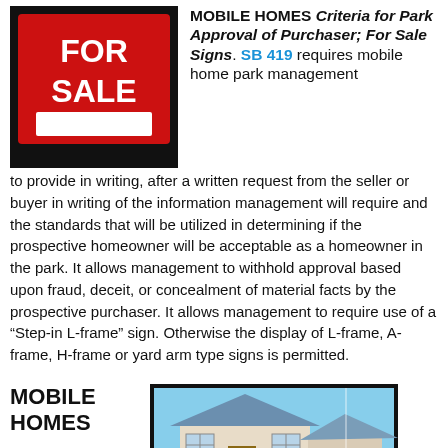[Figure (photo): Red 'FOR SALE' sign on black background]
MOBILE HOMES Criteria for Park Approval of Purchaser; For Sale Signs. SB 419 requires mobile home park management to provide in writing, after a written request from the seller or buyer in writing of the information management will require and the standards that will be utilized in determining if the prospective homeowner will be acceptable as a homeowner in the park. It allows management to withhold approval based upon fraud, deceit, or concealment of material facts by the prospective purchaser. It allows management to require use of a “Step-in L-frame” sign. Otherwise the display of L-frame, A-frame, H-frame or yard arm type signs is permitted.
MOBILE HOMES
[Figure (photo): House exterior photo]